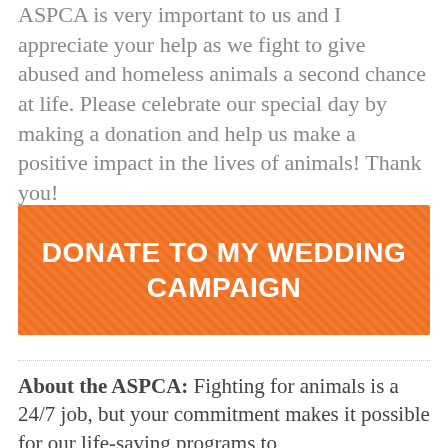ASPCA is very important to us and I appreciate your help as we fight to give abused and homeless animals a second chance at life. Please celebrate our special day by making a donation and help us make a positive impact in the lives of animals! Thank you!
DONATE TO MY WEDDING CAMPAIGN
About the ASPCA: Fighting for animals is a 24/7 job, but your commitment makes it possible for our life-saving programs to